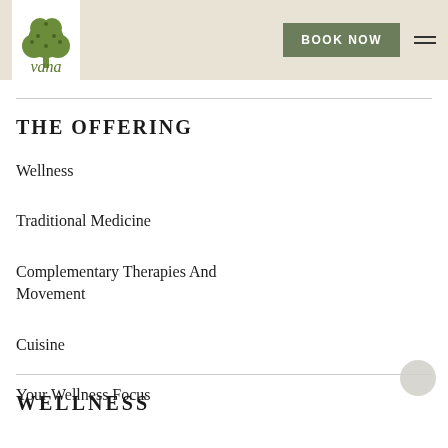[Figure (logo): Vana logo: decorative green tree above italic 'vana' text on white background with beige header bar]
THE OFFERING
Wellness
Traditional Medicine
Complementary Therapies And Movement
Cuisine
Your Wellness Focus
WELLNESS